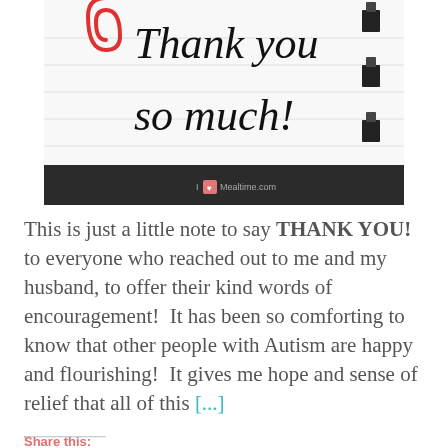[Figure (photo): A handwritten 'Thank you so much!' note on lined paper with a red paperclip, clipped to a dark wooden surface. The image has a watermark at the bottom reading 'I Heart Mealtime.com'.]
This is just a little note to say THANK YOU! to everyone who reached out to me and my husband, to offer their kind words of encouragement!  It has been so comforting to know that other people with Autism are happy and flourishing!  It gives me hope and sense of relief that all of this [...]